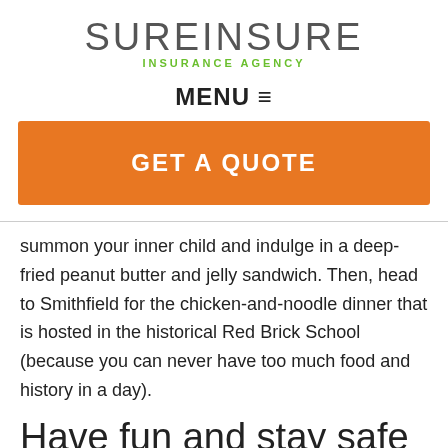[Figure (logo): SureInsure Insurance Agency logo — large gray sans-serif wordmark 'SUREINSURE' with green 'INSURANCE AGENCY' subtitle]
MENU ≡
GET A QUOTE
summon your inner child and indulge in a deep-fried peanut butter and jelly sandwich. Then, head to Smithfield for the chicken-and-noodle dinner that is hosted in the historical Red Brick School (because you can never have too much food and history in a day).
Have fun and stay safe